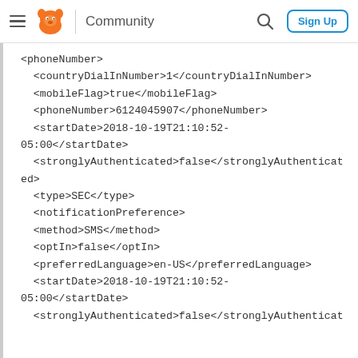Community  Sign Up
<phoneNumber>
<countryDialInNumber>1</countryDialInNumber>
<mobileFlag>true</mobileFlag>
<phoneNumber>6124045907</phoneNumber>
<startDate>2018-10-19T21:10:52-05:00</startDate>
<stronglyAuthenticated>false</stronglyAuthenticated>
<type>SEC</type>
<notificationPreference>
<method>SMS</method>
<optIn>false</optIn>
<preferredLanguage>en-US</preferredLanguage>
<startDate>2018-10-19T21:10:52-05:00</startDate>
<stronglyAuthenticated>false</stronglyAuthenticat